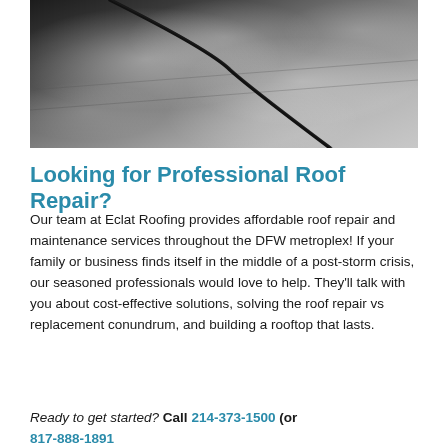[Figure (photo): Close-up photograph of dark asphalt roof shingles with water droplets and a crack/seam visible diagonally across the surface]
Looking for Professional Roof Repair?
Our team at Eclat Roofing provides affordable roof repair and maintenance services throughout the DFW metroplex! If your family or business finds itself in the middle of a post-storm crisis, our seasoned professionals would love to help. They'll talk with you about cost-effective solutions, solving the roof repair vs replacement conundrum, and building a rooftop that lasts.
Ready to get started? Call 214-373-1500 (or 817-888-1891 for Fort Worth) to schedule a